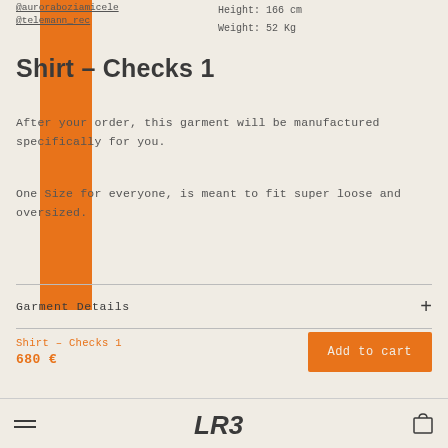@auroraboziamicele
@telemann_rec
Height: 166 cm
Weight: 52 Kg
Shirt – Checks 1
After your order, this garment will be manufactured specifically for you.
One Size for everyone, is meant to fit super loose and oversized.
Garment Details  +
Shirt – Checks 1
680 €
Add to cart
≡  LR3  🛒